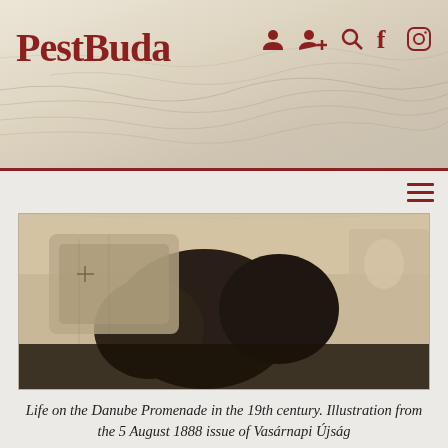PestBuda
[Figure (photo): Historical illustration of life on the Danube Promenade in the 19th century, showing figures in period dress, from Vasárnapi Újság 5 August 1888]
Life on the Danube Promenade in the 19th century. Illustration from the 5 August 1888 issue of Vasárnapi Újság
Kiosks or pavilion-like garden restaurants were